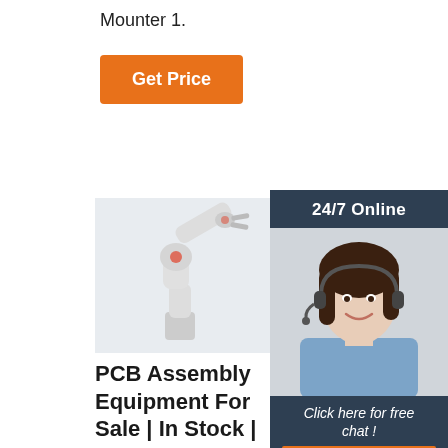Mounter 1.
Get Price
[Figure (other): 24/7 online chat popup with woman wearing headset and quotation button]
[Figure (photo): White industrial robotic arm]
PCB Assembly Equipment For Sale | In Stock | EBay
Plastlist is a professional
[Figure (photo): Blue Yaskawa robot for pick and place]
Delta Robots For Pick & Place | Igus®
Our new low-cost delta robot for automated
[Figure (photo): Blue SMT robot arm]
SMT And Machine At Low Cost For PCB
Choosing the Best Machine According to Your